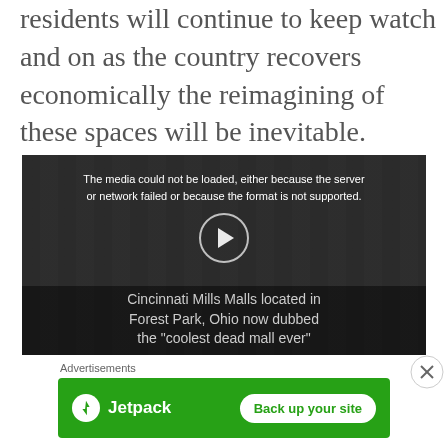residents will continue to keep watch and on as the country recovers economically the reimagining of these spaces will be inevitable.
[Figure (screenshot): Video player showing a darkened image of a building exterior (Cincinnati Mills Malls in Forest Park, Ohio). Overlay text reads: 'The media could not be loaded, either because the server or network failed or because the format is not supported.' A circular play/pause icon is centered. Caption text at bottom reads: 'Cincinnati Mills Malls located in Forest Park, Ohio now dubbed the "coolest dead mall ever"']
Advertisements
[Figure (other): Jetpack advertisement banner on green background. Logo on left with lightning bolt icon and 'Jetpack' text. White button on right reads 'Back up your site'.]